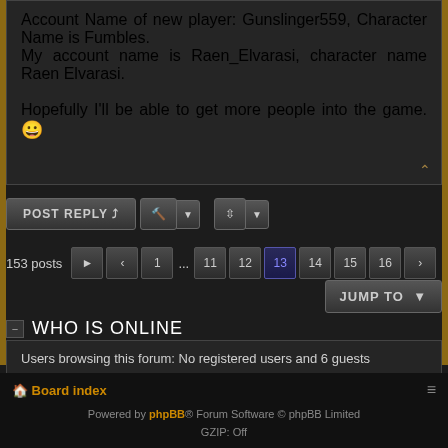Account Name of new player: Gunslinger559, Character Name is Fumbles.
My account name is Raen_Elvarasi, character name Raen Elvarasi.

Hopefully I'll be able to get more people into the game. 😀
POST REPLY | [tool] | [sort]
153 posts  1 ... 11 12 13 14 15 16 ▶
JUMP TO ▼
WHO IS ONLINE
Users browsing this forum: No registered users and 6 guests
Board index
Powered by phpBB® Forum Software © phpBB Limited
GZIP: Off